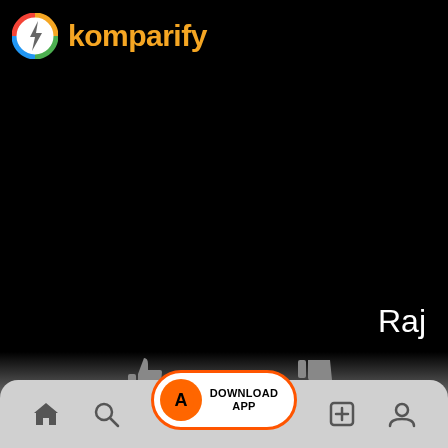[Figure (screenshot): Komparify app screenshot showing header with logo, black content area with 'Raj' text, thumbs up/down icons, and bottom navigation bar with Download App button]
komparify
Raj
DOWNLOAD APP